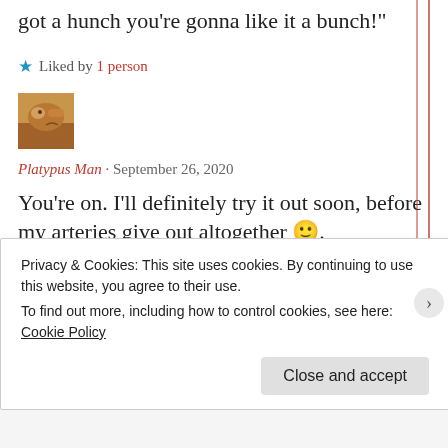got a hunch you’re gonna like it a bunch!”
★ Liked by 1 person
[Figure (photo): Avatar thumbnail photo of Platypus Man commenter]
Platypus Man · September 26, 2020
You’re on. I’ll definitely try it out soon, before my arteries give out altogether 🙂.
Privacy & Cookies: This site uses cookies. By continuing to use this website, you agree to their use.
To find out more, including how to control cookies, see here: Cookie Policy